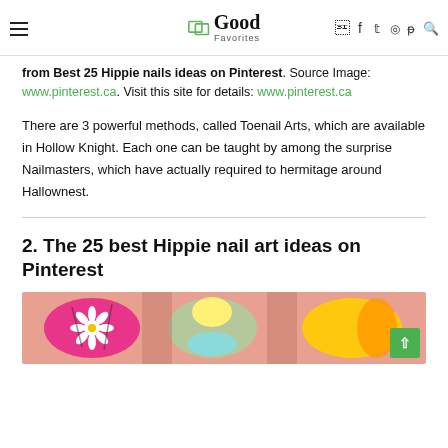Good Favorites
from Best 25 Hippie nails ideas on Pinterest. Source Image: www.pinterest.ca. Visit this site for details: www.pinterest.ca
There are 3 powerful methods, called Toenail Arts, which are available in Hollow Knight. Each one can be taught by among the surprise Nailmasters, which have actually required to hermitage around Hallownest.
2. The 25 best Hippie nail art ideas on Pinterest
[Figure (photo): Close-up photo of colorful hippie nail art with flower designs on pink and multi-colored nails]